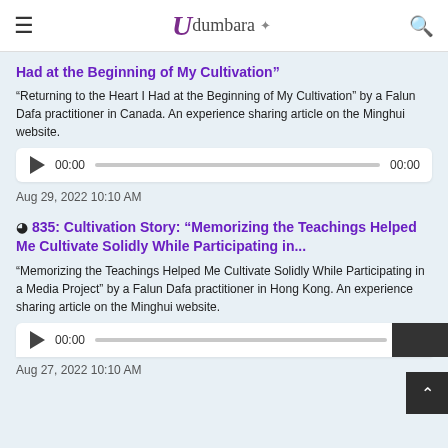Udumbara
Had at the Beginning of My Cultivation"
"Returning to the Heart I Had at the Beginning of My Cultivation" by a Falun Dafa practitioner in Canada. An experience sharing article on the Minghui website.
[Figure (other): Audio player with play button, 00:00 timestamp, progress bar, and 00:00 end time]
Aug 29, 2022 10:10 AM
835: Cultivation Story: “Memorizing the Teachings Helped Me Cultivate Solidly While Participating in...
"Memorizing the Teachings Helped Me Cultivate Solidly While Participating in a Media Project" by a Falun Dafa practitioner in Hong Kong. An experience sharing article on the Minghui website.
[Figure (other): Audio player with play button, 00:00 timestamp, progress bar, and 00:00 end time]
Aug 27, 2022 10:10 AM